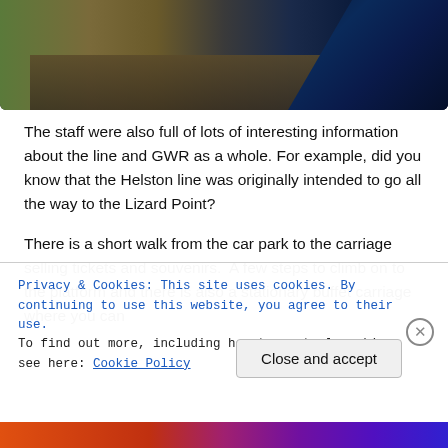[Figure (photo): Aerial or elevated photograph of a railway line with rails and a blue tarpaulin visible, set against green vegetation]
The staff were also full of lots of interesting information about the line and GWR as a whole. For example, did you know that the Helston line was originally intended to go all the way to the Lizard Point?
There is a short walk from the car park to the carriage selling tickets and souvenirs.  A few steps to climb on to the platform and there is also a stationary buffet carriage where you can
Privacy & Cookies: This site uses cookies. By continuing to use this website, you agree to their use.
To find out more, including how to control cookies, see here: Cookie Policy
Close and accept